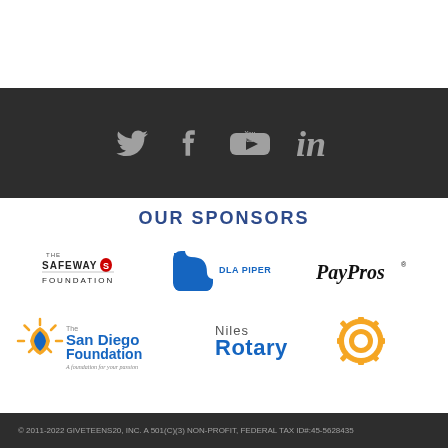[Figure (infographic): Social media icons: Twitter, Facebook, YouTube, LinkedIn on dark background]
OUR SPONSORS
[Figure (logo): The Safeway Foundation logo]
[Figure (logo): DLA Piper logo]
[Figure (logo): PayPros logo]
[Figure (logo): The San Diego Foundation logo]
[Figure (logo): Niles Rotary logo]
© 2011-2022 GIVETEENS20, INC. A 501(C)(3) NON-PROFIT, FEDERAL TAX ID#:45-5628435